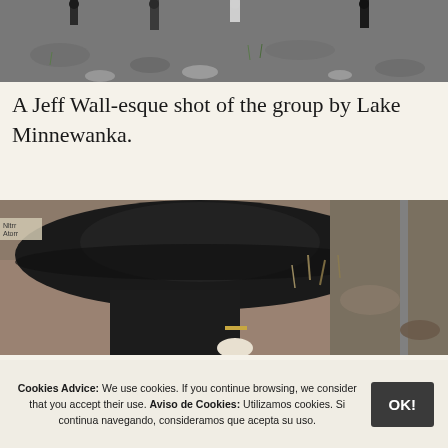[Figure (photo): Top portion of a photo showing people standing on rocky/gravelly ground near Lake Minnewanka, with grey rocks and sparse vegetation visible.]
A Jeff Wall-esque shot of the group by Lake Minnewanka.
[Figure (photo): A close-up photo of a person wearing a wide-brimmed black hat, bending down near rocky ground with dry grass and gravel. A metal pole is visible on the right side.]
Cookies Advice: We use cookies. If you continue browsing, we consider that you accept their use. Aviso de Cookies: Utilizamos cookies. Si continua navegando, consideramos que acepta su uso.